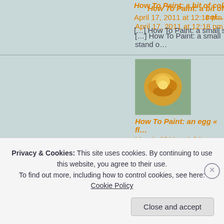[Figure (photo): Yellow rose avatar image for comment 1]
How To Paint: a bit of col…
April 17, 2011 at 12:18 pm
[…] How To Paint: a small stand o…
[Figure (photo): Yellow rose avatar image for comment 2]
How To Paint: an egg « fl…
May 1, 2011 at 1:34 pm
[…] How To Paint: a small stand o…
[Figure (photo): Yellow rose avatar image for comment 3]
How To Paint: a hand « fl…
Privacy & Cookies: This site uses cookies. By continuing to use this website, you agree to their use. To find out more, including how to control cookies, see here: Cookie Policy
Close and accept